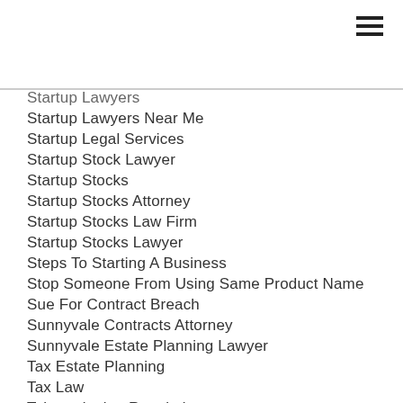Startup Lawyers
Startup Lawyers Near Me
Startup Legal Services
Startup Stock Lawyer
Startup Stocks
Startup Stocks Attorney
Startup Stocks Law Firm
Startup Stocks Lawyer
Steps To Starting A Business
Stop Someone From Using Same Product Name
Sue For Contract Breach
Sunnyvale Contracts Attorney
Sunnyvale Estate Planning Lawyer
Tax Estate Planning
Tax Law
Telemarketing Regulations
Telemarketing Rules